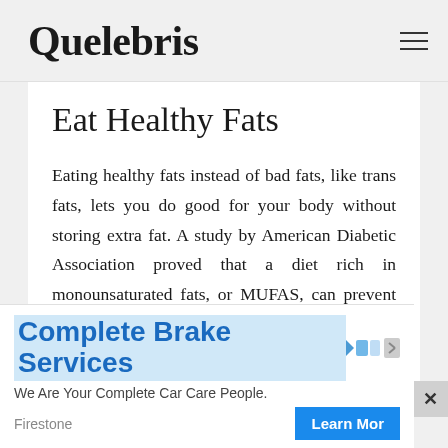Quelebris
Eat Healthy Fats
Eating healthy fats instead of bad fats, like trans fats, lets you do good for your body without storing extra fat. A study by American Diabetic Association proved that a diet rich in monounsaturated fats, or MUFAS, can prevent central body fat. Only eat small portions of foods that contain MUFAS because they contain a lot of calories, but they will help you feel
[Figure (screenshot): Advertisement banner for Complete Brake Services by Firestone with a Learn More button]